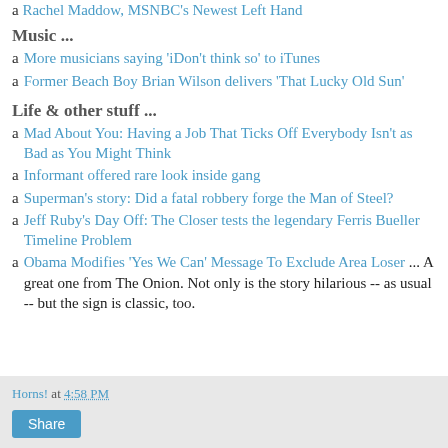a Rachel Maddow, MSNBC's Newest Left Hand
Music ...
a More musicians saying 'iDon't think so' to iTunes
a Former Beach Boy Brian Wilson delivers 'That Lucky Old Sun'
Life & other stuff ...
a Mad About You: Having a Job That Ticks Off Everybody Isn't as Bad as You Might Think
a Informant offered rare look inside gang
a Superman's story: Did a fatal robbery forge the Man of Steel?
a Jeff Ruby's Day Off: The Closer tests the legendary Ferris Bueller Timeline Problem
a Obama Modifies 'Yes We Can' Message To Exclude Area Loser ... A great one from The Onion. Not only is the story hilarious -- as usual -- but the sign is classic, too.
Horns! at 4:58 PM  Share